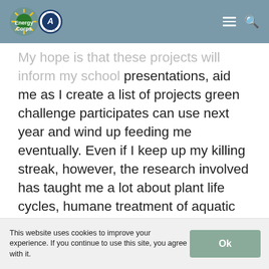Energy Corps [logo] [AmeriCorps logo] [menu icon] [search icon]
My hope is that these projects will inform my school presentations, aid me as I create a list of projects green challenge participates can use next year and wind up feeding me eventually. Even if I keep up my killing streak, however, the research involved has taught me a lot about plant life cycles, humane treatment of aquatic creatures in aquaponics systems, greenhouse practices, and creative plastic repurposing. I learn best by doing, and I'm happy that my experience at Energy Corps has already afforded me a chance to (literally) get my hands dirty while I learn something new.
This website uses cookies to improve your experience. If you continue to use this site, you agree with it.